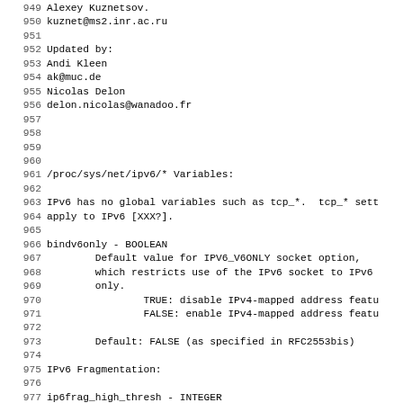949 Alexey Kuznetsov.
950 kuznet@ms2.inr.ac.ru
951 
952 Updated by:
953 Andi Kleen
954 ak@muc.de
955 Nicolas Delon
956 delon.nicolas@wanadoo.fr
957 
958 
959 
960 
961 /proc/sys/net/ipv6/* Variables:
962 
963 IPv6 has no global variables such as tcp_*.  tcp_* sett
964 apply to IPv6 [XXX?].
965 
966 bindv6only - BOOLEAN
967         Default value for IPV6_V6ONLY socket option,
968         which restricts use of the IPv6 socket to IPv6
969         only.
970                 TRUE: disable IPv4-mapped address featu
971                 FALSE: enable IPv4-mapped address featu
972 
973         Default: FALSE (as specified in RFC2553bis)
974 
975 IPv6 Fragmentation:
976 
977 ip6frag_high_thresh - INTEGER
978         Maximum memory used to reassemble IPv6 fragment
979         ip6frag_high_thresh bytes of memory is allocate
980         the fragment handler will toss packets until ip